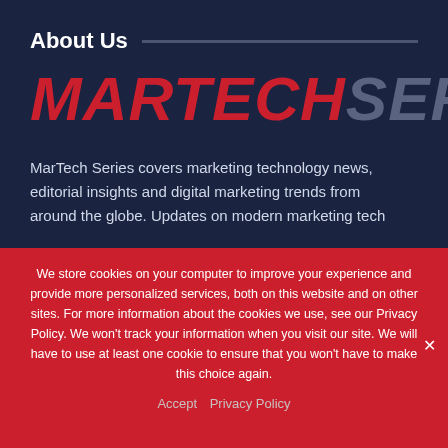About Us
MARTECHSERIES
MarTech Series covers marketing technology news, editorial insights and digital marketing trends from around the globe. Updates on modern marketing tech
We store cookies on your computer to improve your experience and provide more personalized services, both on this website and on other sites. For more information about the cookies we use, see our Privacy Policy. We won't track your information when you visit our site. We will have to use at least one cookie to ensure that you won't have to make this choice again.
Accept   Privacy Policy